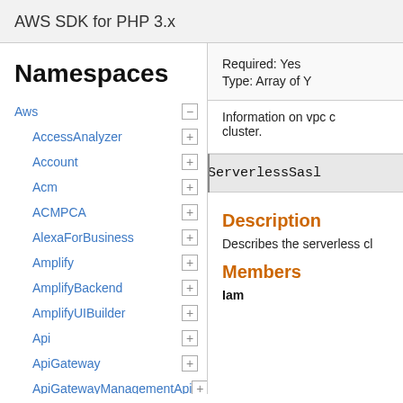AWS SDK for PHP 3.x
Namespaces
Aws
AccessAnalyzer
Account
Acm
ACMPCA
AlexaForBusiness
Amplify
AmplifyBackend
AmplifyUIBuilder
Api
ApiGateway
ApiGatewayManagementApi
Required: Yes
Type: Array of Y
Information on vpc c cluster.
ServerlessSasl
Description
Describes the serverless cl
Members
Iam